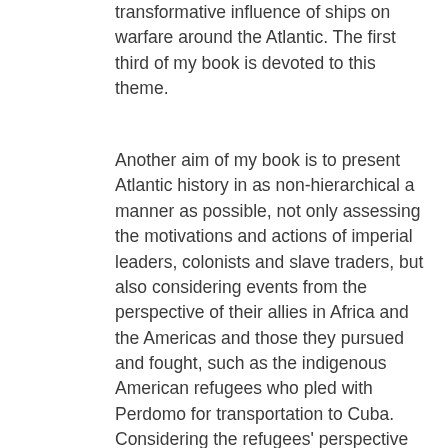transformative influence of ships on warfare around the Atlantic. The first third of my book is devoted to this theme.
Another aim of my book is to present Atlantic history in as non-hierarchical a manner as possible, not only assessing the motivations and actions of imperial leaders, colonists and slave traders, but also considering events from the perspective of their allies in Africa and the Americas and those they pursued and fought, such as the indigenous American refugees who pled with Perdomo for transportation to Cuba. Considering the refugees' perspective highlights the formative impact of warfare on life around the Atlantic. Military action exposed whole communities to slaughter, dispossession, forcible removal, enslavement and exile. The impacts varied, often for example distinguishing men from women, children from adults, indigenous Americans from Africans, Europeans and European colonists. But wars were also communal experiences, creating opportunities for